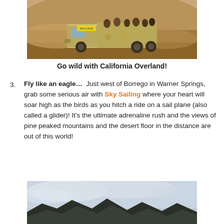[Figure (photo): A large military-style truck carrying passengers driving through a sandy desert landscape, with a yellow sign reading 'MA-4-LGINS' on the cab.]
Go wild with California Overland!
Fly like an eagle… Just west of Borrego in Warner Springs, grab some serious air with Sky Sailing where your heart will soar high as the birds as you hitch a ride on a sail plane (also called a glider)! It's the ultimate adrenaline rush and the views of pine peaked mountains and the desert floor in the distance are out of this world!
[Figure (photo): A scenic mountain landscape with dark mountain silhouettes in the foreground and a cloudy sky above, appearing to be taken from a high altitude.]